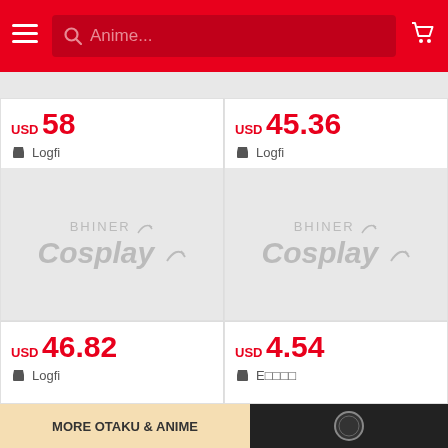[Figure (screenshot): Mobile app navigation bar with hamburger menu, search field with 'Anime...' placeholder, and shopping cart icon on red background]
USD 58
Logfi
[Figure (other): Product image placeholder with BHINER Cosplay watermark]
USD 45.36
Logfi
[Figure (other): Product image placeholder with BHINER Cosplay watermark]
USD 46.82
Logfi
USD 4.54
E□□□□
[Figure (other): Bottom banner with 'MORE OTAKU & ANIME' text and product images]